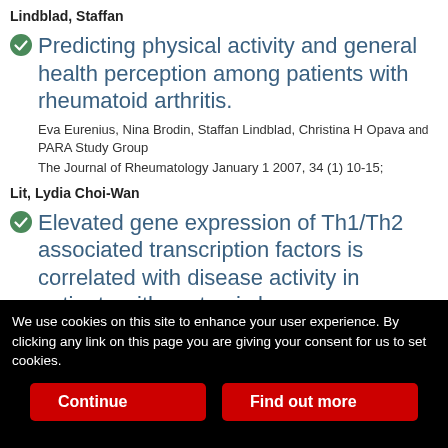Lindblad, Staffan
Predicting physical activity and general health perception among patients with rheumatoid arthritis.
Eva Eurenius, Nina Brodin, Staffan Lindblad, Christina H Opava and PARA Study Group
The Journal of Rheumatology January 1 2007, 34 (1) 10-15;
Lit, Lydia Choi-Wan
Elevated gene expression of Th1/Th2 associated transcription factors is correlated with disease activity in patients with systemic lupus
We use cookies on this site to enhance your user experience. By clicking any link on this page you are giving your consent for us to set cookies.